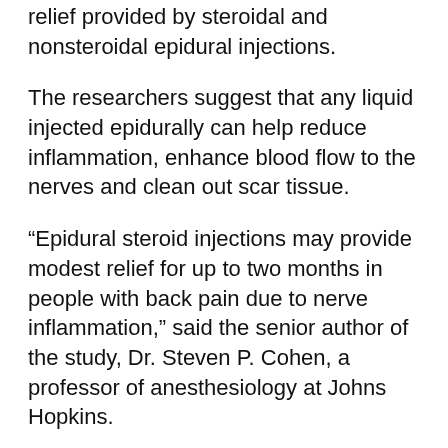relief provided by steroidal and nonsteroidal epidural injections.
The researchers suggest that any liquid injected epidurally can help reduce inflammation, enhance blood flow to the nerves and clean out scar tissue.
“Epidural steroid injections may provide modest relief for up to two months in people with back pain due to nerve inflammation,” said the senior author of the study, Dr. Steven P. Cohen, a professor of anesthesiology at Johns Hopkins.
But steroids have side effects, and “most of the short-term benefit seems to be not from the steroids, but from the local